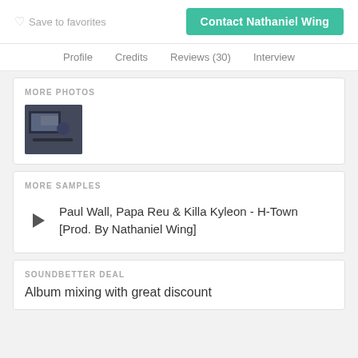Save to favorites
Contact Nathaniel Wing
Profile   Credits   Reviews (30)   Interview
MORE PHOTOS
[Figure (photo): A dark thumbnail photo showing a studio or workspace scene]
MORE SAMPLES
Paul Wall, Papa Reu & Killa Kyleon - H-Town [Prod. By Nathaniel Wing]
SOUNDBETTER DEAL
Album mixing with great discount